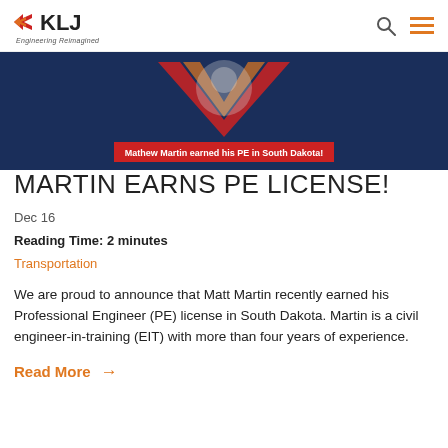KLJ Engineering Reimagined
[Figure (photo): Banner image showing KLJ announcement graphic with dark blue background, KLJ logo elements, and red caption bar reading 'Mathew Martin earned his PE in South Dakota!']
MARTIN EARNS PE LICENSE!
Dec 16
Reading Time: 2 minutes
Transportation
We are proud to announce that Matt Martin recently earned his Professional Engineer (PE) license in South Dakota. Martin is a civil engineer-in-training (EIT) with more than four years of experience.
Read More →